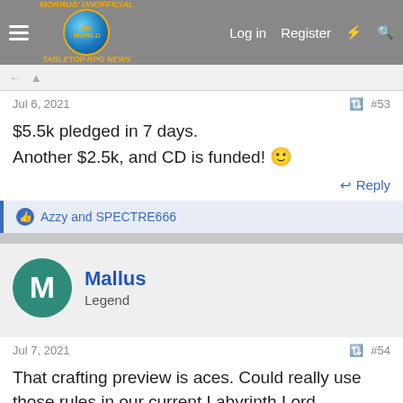Morrus' Unofficial Tabletop RPG News — Log in | Register
Jul 6, 2021   #53
$5.5k pledged in 7 days.
Another $2.5k, and CD is funded! 🙂
Reply
Azzy and SPECTRE666
Mallus
Legend
Jul 7, 2021   #54
That crafting preview is aces. Could really use those rules in our current Labyrinth Lord campaign where my cleric's side